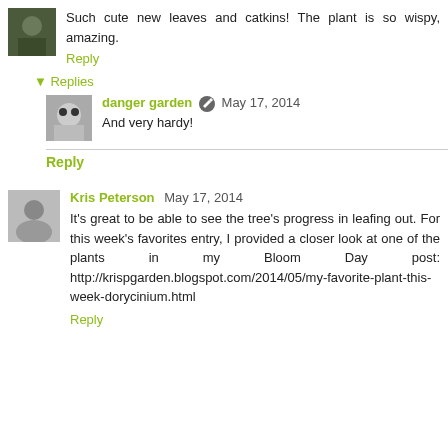Such cute new leaves and catkins! The plant is so wispy, amazing.
Reply
▾ Replies
danger garden  May 17, 2014
And very hardy!
Reply
Kris Peterson  May 17, 2014
It's great to be able to see the tree's progress in leafing out. For this week's favorites entry, I provided a closer look at one of the plants in my Bloom Day post: http://krispgarden.blogspot.com/2014/05/my-favorite-plant-this-week-dorycinium.html
Reply